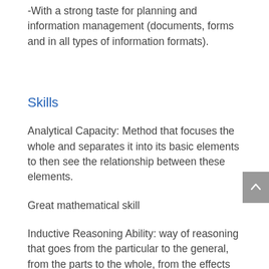-With a strong taste for planning and information management (documents, forms and in all types of information formats).
Skills
Analytical Capacity: Method that focuses the whole and separates it into its basic elements to then see the relationship between these elements.
Great mathematical skill
Inductive Reasoning Ability: way of reasoning that goes from the particular to the general, from the parts to the whole, from the effects